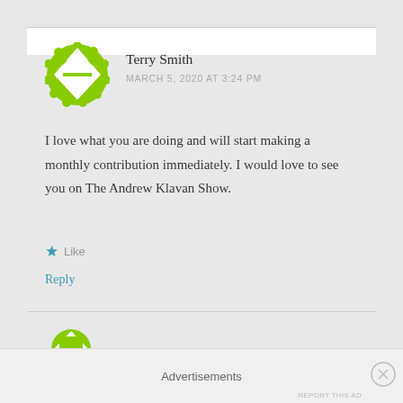[Figure (illustration): Green geometric avatar icon with diamond/square shape and scalloped border]
Terry Smith
MARCH 5, 2020 AT 3:24 PM
I love what you are doing and will start making a monthly contribution immediately. I would love to see you on The Andrew Klavan Show.
Like
Reply
Advertisements